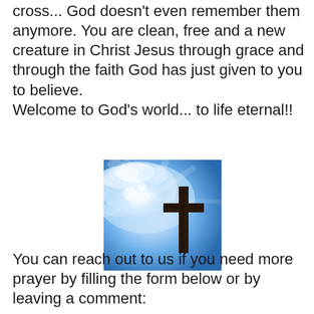cross... God doesn't even remember them anymore. You are clean, free and a new creature in Christ Jesus through grace and through the faith God has just given to you to believe.
Welcome to God's world... to life eternal!!
[Figure (photo): A Christian cross silhouetted against a bright blue sky with rays of light shining through clouds]
You can reach out to us if you need more prayer by filling the form below or by leaving a comment: